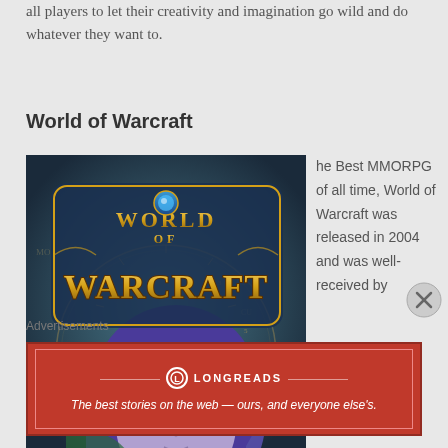all players to let their creativity and imagination go wild and do whatever they want to.
World of Warcraft
[Figure (photo): World of Warcraft game box art showing the logo with a fantasy night elf character]
he Best MMORPG of all time, World of Warcraft was released in 2004 and was well-received by
Advertisements
[Figure (infographic): Longreads advertisement banner — red background with logo and tagline: The best stories on the web — ours, and everyone else's.]